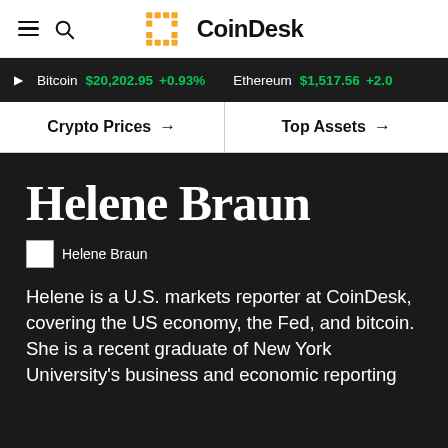CoinDesk
Bitcoin $20,202.95 +0.93%  Ethereum $1,517.56 +2.0
Crypto Prices →  Top Assets →
Helene Braun
[Figure (photo): Helene Braun author photo placeholder]
Helene is a U.S. markets reporter at CoinDesk, covering the US economy, the Fed, and bitcoin. She is a recent graduate of New York University's business and economic reporting